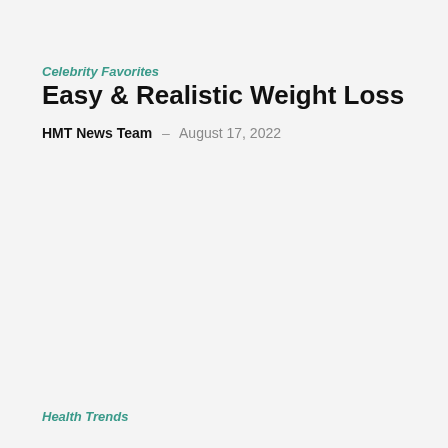Celebrity Favorites
Easy & Realistic Weight Loss
HMT News Team – August 17, 2022
Health Trends